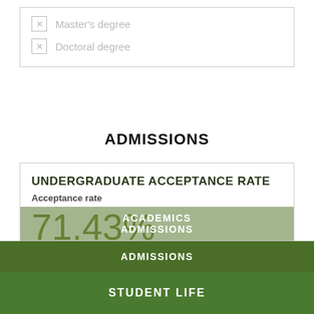Master's degree
Doctoral degree
ADMISSIONS
UNDERGRADUATE ACCEPTANCE RATE
Acceptance rate
71.43%
|  |  |
| --- | --- |
| Apply | 7 |
| Accepted | 5 |
ACADEMICS
ADMISSIONS
STUDENT LIFE